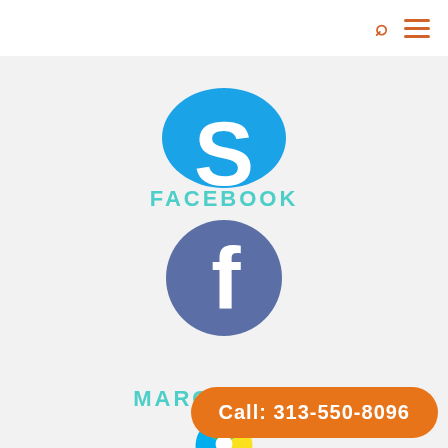[Figure (logo): Skype logo (partially cropped at top) — blue stylized S on cloud shape]
FACEBOOK
[Figure (logo): Facebook logo — white lowercase f on circular blue-grey background]
MARCO POLO
[Figure (logo): Marco Polo app logo — colorful pinwheel/fan with segments of green, yellow, orange, red, purple, blue, with white center circle (partially visible)]
Call: 313-550-8096